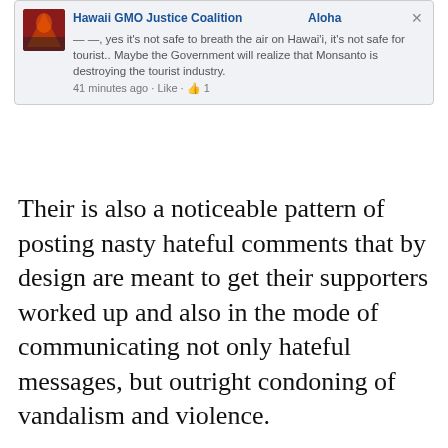[Figure (screenshot): Facebook post screenshot from Hawaii GMO Justice Coalition Aloha page saying yes it's not safe to breath the air on Hawai'i, it's not safe for tourist.. Maybe the Government will realize that Monsanto is destroying the tourist industry. 41 minutes ago · Like · 1]
Their is also a noticeable pattern of posting nasty hateful comments that by design are meant to get their supporters worked up and also in the mode of communicating not only hateful messages, but outright condoning of vandalism and violence.
Privacy & Cookies: This site uses cookies. By continuing to use this website, you agree to their use.
To find out more, including how to control cookies, see here:
Cookie Policy
Close and accept
beach to just past Haleiwa / 11, at the big Circle intersection 3 times. With me on this mission is Brother Turtle Rattle who